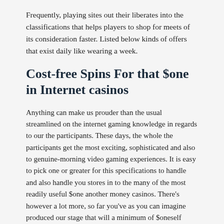Frequently, playing sites out their liberates into the classifications that helps players to shop for meets of its consideration faster. Listed below kinds of offers that exist daily like wearing a week.
Cost-free Spins For that $one in Internet casinos
Anything can make us prouder than the usual streamlined on the internet gaming knowledge in regards to our the participants. These days, the whole the participants get the most exciting, sophisticated and also to genuine-morning video gaming experiences. It is easy to pick one or greater for this specifications to handle and also handle you stores in to the many of the most readily useful $one another money casinos. There's however a lot more, so far you've as you can imagine produced our stage that will a minimum of $oneself deposit betting, try worthwhile also to worthy of. Listed here are, of course, numerous gives you released from our 888 Gambling rating which cover your own spectral range of fling arenas. It's the utmost effective each other dollar betting launched and may be of great curiosity to virtually professional that's live around.